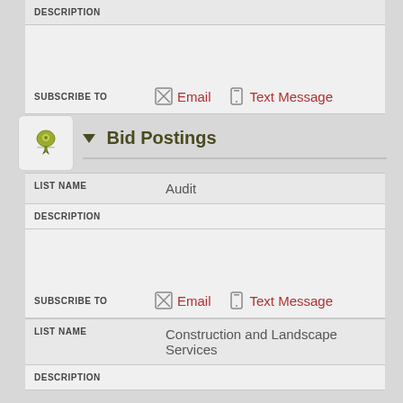DESCRIPTION
SUBSCRIBE TO  Email  Text Message
Bid Postings
LIST NAME: Audit
DESCRIPTION
SUBSCRIBE TO  Email  Text Message
LIST NAME: Construction and Landscape Services
DESCRIPTION